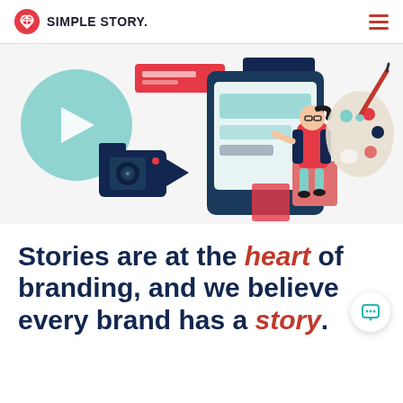SIMPLE STORY.
[Figure (illustration): Colorful illustrated scene with a woman sitting on a stool in front of a large smartphone/screen, surrounded by creative media icons: a video play button, a camera, red and teal shapes, and a painter's palette with paintbrush. Navy, red/coral, teal, and white color scheme.]
Stories are at the heart of branding, and we believe every brand has a story.